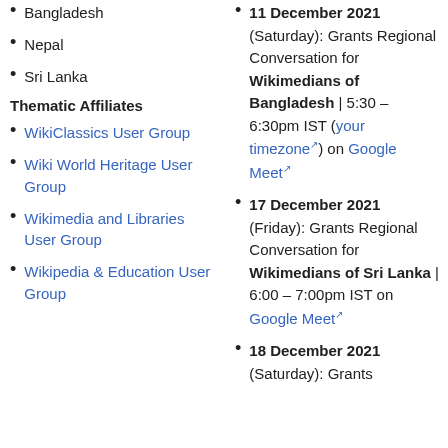Bangladesh
Nepal
Sri Lanka
Thematic Affiliates
WikiClassics User Group
Wiki World Heritage User Group
Wikimedia and Libraries User Group
Wikipedia & Education User Group
11 December 2021 (Saturday): Grants Regional Conversation for Wikimedians of Bangladesh | 5:30 – 6:30pm IST (your timezone) on Google Meet
17 December 2021 (Friday): Grants Regional Conversation for Wikimedians of Sri Lanka | 6:00 – 7:00pm IST on Google Meet
18 December 2021 (Saturday): Grants